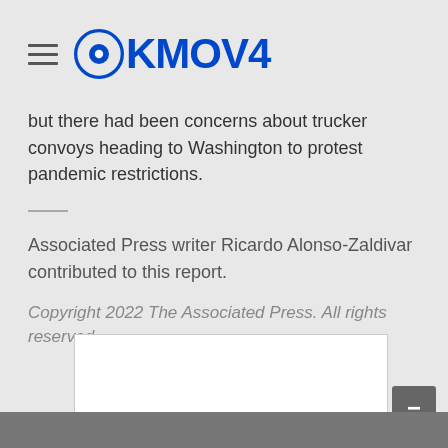KMOV4
but there had been concerns about trucker convoys heading to Washington to protest pandemic restrictions.
Associated Press writer Ricardo Alonso-Zaldivar contributed to this report.
Copyright 2022 The Associated Press. All rights reserved.
[Figure (other): White advertisement placeholder box with a minimize/collapse button overlay in dark gray]